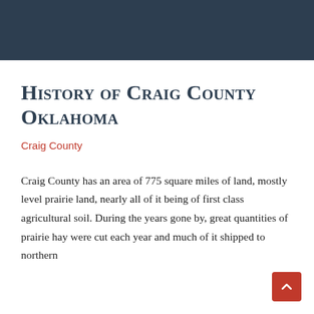[Figure (other): Dark navy/slate blue banner header image at top of page]
History of Craig County Oklahoma
Craig County
Craig County has an area of 775 square miles of land, mostly level prairie land, nearly all of it being of first class agricultural soil. During the years gone by, great quantities of prairie hay were cut each year and much of it shipped to northern